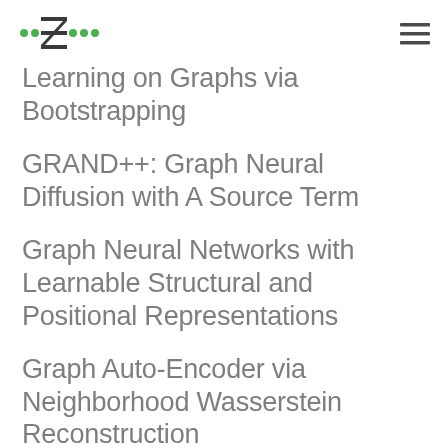··Z··· [logo] [hamburger menu]
Learning on Graphs via Bootstrapping
GRAND++: Graph Neural Diffusion with A Source Term
Graph Neural Networks with Learnable Structural and Positional Representations
Graph Auto-Encoder via Neighborhood Wasserstein Reconstruction